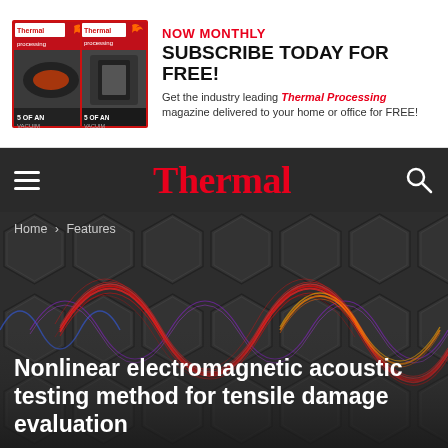[Figure (other): Advertisement banner for Thermal Processing magazine showing two magazine covers and subscription call-to-action text. NOW MONTHLY - SUBSCRIBE TODAY FOR FREE! Get the industry leading Thermal Processing magazine delivered to your home or office for FREE!]
Thermal
[Figure (illustration): Dark hexagonal tile background with colorful sinusoidal waveform illustrations in red, orange, purple, and blue overlaid, representing electromagnetic acoustic waves]
Home › Features
Nonlinear electromagnetic acoustic testing method for tensile damage evaluation